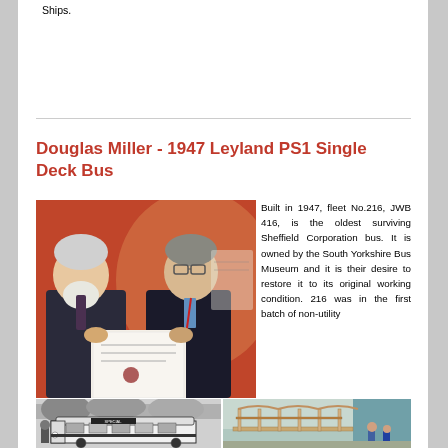Ships.
Douglas Miller - 1947 Leyland PS1 Single Deck Bus
[Figure (photo): Two men in suits, one with a white beard, holding a certificate or document, standing in front of a reddish-orange wall]
Built in 1947, fleet No.216, JWB 416, is the oldest surviving Sheffield Corporation bus. It is owned by the South Yorkshire Bus Museum and it is their desire to restore it to its original working condition. 216 was in the first batch of non-utility
[Figure (photo): Black and white photo of a single deck bus marked SPECIAL]
[Figure (photo): Color photo of a bus frame/skeleton being restored in a workshop]